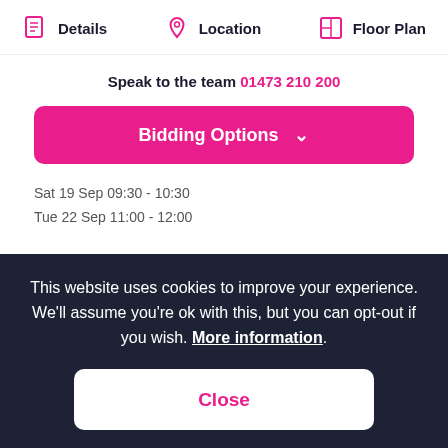Details | Location | Floor Plan
Speak to the team 01473 210 200
Bidding Options
Sat 19 Sep 09:30 - 10:30
Tue 22 Sep 11:00 - 12:00
This website uses cookies to improve your experience. We'll assume you're ok with this, but you can opt-out if you wish. More information.
Close